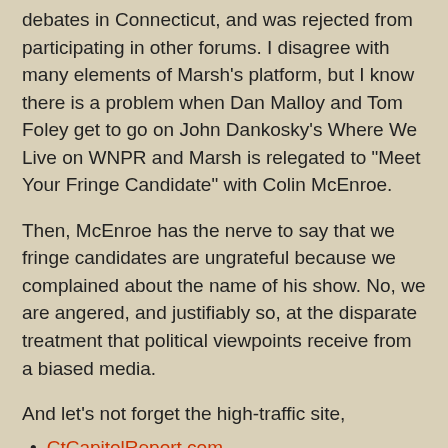debates in Connecticut, and was rejected from participating in other forums. I disagree with many elements of Marsh's platform, but I know there is a problem when Dan Malloy and Tom Foley get to go on John Dankosky's Where We Live on WNPR and Marsh is relegated to "Meet Your Fringe Candidate" with Colin McEnroe.
Then, McEnroe has the nerve to say that we fringe candidates are ungrateful because we complained about the name of his show. No, we are angered, and justifiably so, at the disparate treatment that political viewpoints receive from a biased media.
And let's not forget the high-traffic site,
CtCapitolReport.com
Site owner Tom Dudchik knowingly chose expedience over accuracy when he shut me out of two polls. Based on the history of the district, the substance of the current campaign and the tenor of the nation, it is reasonable to project that I will receive anywhere from one- to 10-percent of the vote.